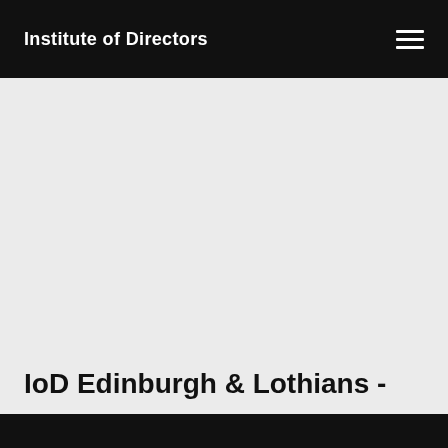Institute of Directors
IoD Edinburgh & Lothians -